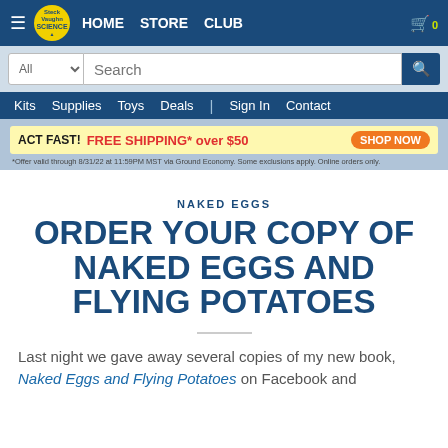≡  Steck Vaughn Science  HOME  STORE  CLUB  🛒 0
[Figure (screenshot): Website navigation bar with logo, search bar, sub-navigation links, and promotional banner]
NAKED EGGS
ORDER YOUR COPY OF NAKED EGGS AND FLYING POTATOES
Last night we gave away several copies of my new book, Naked Eggs and Flying Potatoes on Facebook and